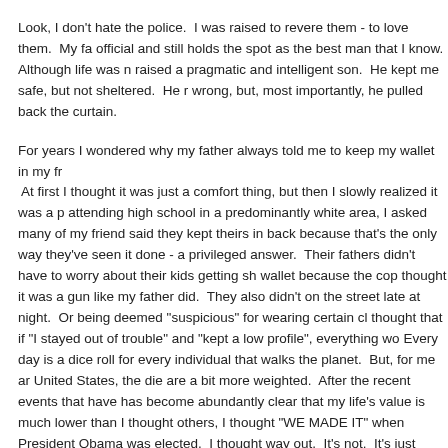Look, I don't hate the police.  I was raised to revere them - to love them.  My fa official and still holds the spot as the best man that I know.  Although life was n raised a pragmatic and intelligent son.  He kept me safe, but not sheltered.  He r wrong, but, most importantly, he pulled back the curtain.
For years I wondered why my father always told me to keep my wallet in my fr At first I thought it was just a comfort thing, but then I slowly realized it was a p attending high school in a predominantly white area, I asked many of my friend said they kept theirs in back because that's the only way they've seen it done - a privileged answer.  Their fathers didn't have to worry about their kids getting sh wallet because the cop thought it was a gun like my father did.  They also didn't on the street late at night.  Or being deemed "suspicious" for wearing certain cl thought that if "I stayed out of trouble" and "kept a low profile", everything wo Every day is a dice roll for every individual that walks the planet.  But, for me ar United States, the die are a bit more weighted.  After the recent events that have has become abundantly clear that my life's value is much lower than I thought others, I thought "WE MADE IT" when President Obama was elected.  I thought way out.  It's not.  It's just reformulated and re-purposed.  Even though I've sta profile, I can be dead tomorrow.
I'm not a lawyer and I'm not going to pretend to be (same goes for my felo